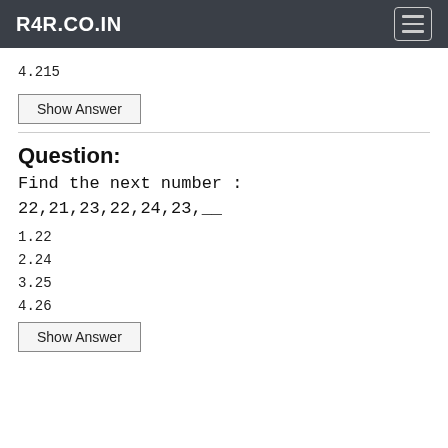R4R.CO.IN
4.215
Show Answer
Question: Find the next number : 22,21,23,22,24,23,__
1.22
2.24
3.25
4.26
Show Answer